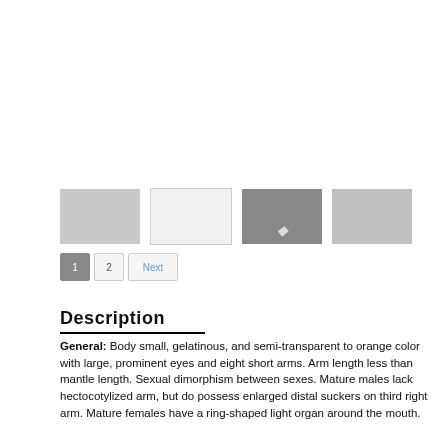[Figure (photo): Image gallery with four thumbnail images of a marine organism, followed by pagination controls showing page 1, 2, and Next]
Description
General: Body small, gelatinous, and semi-transparent to orange color with large, prominent eyes and eight short arms. Arm length less than mantle length. Sexual dimorphism between sexes. Mature males lack hectocotylized arm, but do possess enlarged distal suckers on third right arm. Mature females have a ring-shaped light organ around the mouth.